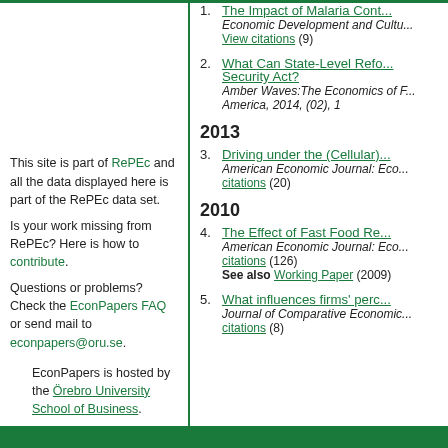1. The Impact of Malaria Cont... — Economic Development and Cultu... View citations (9)
2. What Can State-Level Refo... Security Act? — Amber Waves:The Economics of ... America, 2014, (02), 1
2013
3. Driving under the (Cellular)... — American Economic Journal: Eco... citations (20)
2010
4. The Effect of Fast Food Re... — American Economic Journal: Eco... citations (126) See also Working Paper (2009)
5. What influences firms' perc... — Journal of Comparative Economic... citations (8)
This site is part of RePEc and all the data displayed here is part of the RePEc data set.
Is your work missing from RePEc? Here is how to contribute.
Questions or problems? Check the EconPapers FAQ or send mail to econpapers@oru.se.
EconPapers is hosted by the Örebro University School of Business.